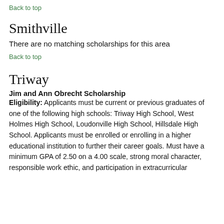Back to top
Smithville
There are no matching scholarships for this area
Back to top
Triway
Jim and Ann Obrecht Scholarship
Eligibility: Applicants must be current or previous graduates of one of the following high schools: Triway High School, West Holmes High School, Loudonville High School, Hillsdale High School. Applicants must be enrolled or enrolling in a higher educational institution to further their career goals. Must have a minimum GPA of 2.50 on a 4.00 scale, strong moral character, responsible work ethic, and participation in extracurricular